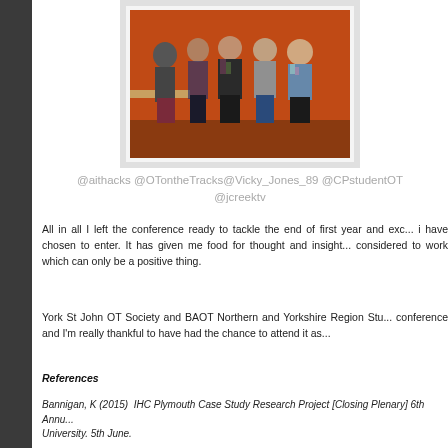[Figure (photo): Group photo of five women standing together in front of an orange wall]
@aithacks @OTontheTracks@Vicky_Jones_89 @CPstudentOT @jcreektv
All in all I left the conference ready to tackle the end of first year and exc... i have chosen to enter. It has given me food for thought and insight... considered to work which can only be a positive thing.
York St John OT Society and BAOT Northern and Yorkshire Region Stu... conference and I'm really thankful to have had the chance to attend it as...
References
Bannigan, K (2015)  IHC Plymouth Case Study Research Project [Closing Plenary] 6th Annu... University. 5th June.